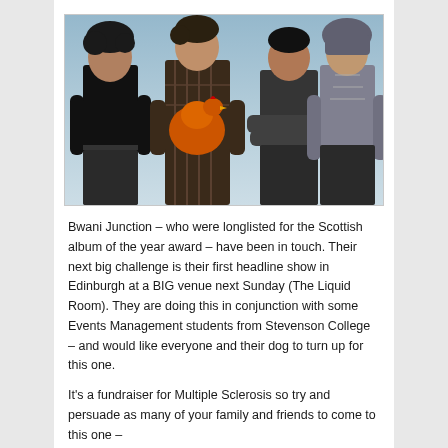[Figure (photo): Four young men standing outdoors against a blue sky background. The second from left is holding an orange/red chicken. The men are dressed casually — dark clothes, plaid shirts. This appears to be a band photo.]
Bwani Junction – who were longlisted for the Scottish album of the year award – have been in touch. Their next big challenge is their first headline show in Edinburgh at a BIG venue next Sunday (The Liquid Room). They are doing this in conjunction with some Events Management students from Stevenson College – and would like everyone and their dog to turn up for this one.
It's a fundraiser for Multiple Sclerosis so try and persuade as many of your family and friends to come to this one –